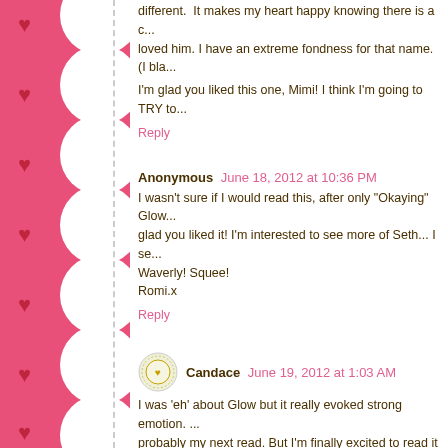different. It makes my heart happy knowing there is a c... loved him. I have an extreme fondness for that name. (I bla...
I'm glad you liked this one, Mimi! I think I'm going to TRY to...
Reply
Anonymous  June 18, 2012 at 10:36 PM
I wasn't sure if I would read this, after only "Okaying" Glow... glad you liked it! I'm interested to see more of Seth... I se... Waverly! Squee!
Romi.x
Reply
Candace  June 19, 2012 at 1:03 AM
I was 'eh' about Glow but it really evoked strong emotion. ... probably my next read. But I'm finally excited to read it af... be experiencing lots of emotions in it!
Reply